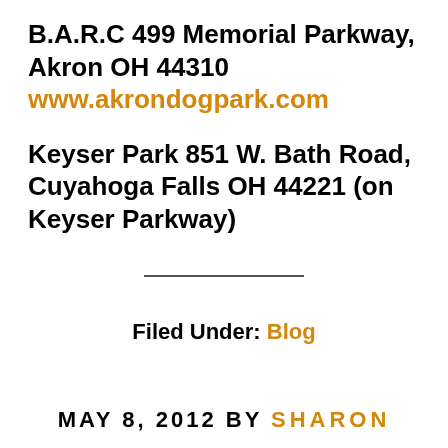B.A.R.C  499 Memorial Parkway, Akron OH 44310 www.akrondogpark.com
Keyser Park  851 W. Bath Road, Cuyahoga Falls OH 44221 (on Keyser Parkway)
Filed Under: Blog
MAY 8, 2012 BY SHARON